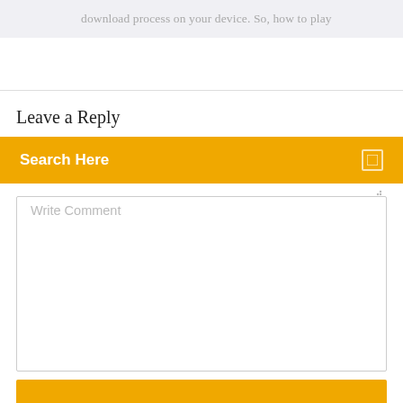download process on your device. So, how to play
Leave a Reply
Search Here
Write Comment